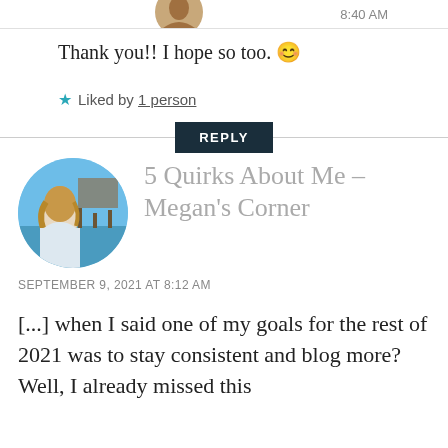8:40 AM
Thank you!! I hope so too. 😊
★ Liked by 1 person
REPLY
[Figure (photo): Circular profile photo of a person with blonde hair standing near water with a pier/dock in the background under a blue sky]
5 Quirks About Me – Megan's Corner
SEPTEMBER 9, 2021 AT 8:12 AM
[...] when I said one of my goals for the rest of 2021 was to stay consistent and blog more? Well, I already missed this Tuesday [...]